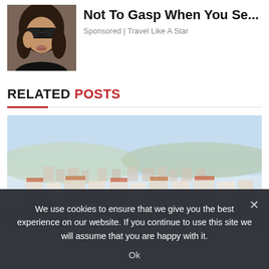[Figure (photo): Photo of a woman wearing sunglasses]
Not To Gasp When You Se...
Sponsored | Travel Like A Star
RELATED POSTS
[Figure (photo): Aerial view of a coastal town with buildings and sea in the background]
We use cookies to ensure that we give you the best experience on our website. If you continue to use this site we will assume that you are happy with it.
Ok